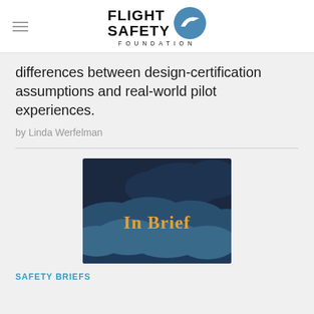Flight Safety Foundation
differences between design-certification assumptions and real-world pilot experiences.
by Linda Werfelman
[Figure (illustration): In Brief - illustrated image with dark blue cloud background and golden/orange 'In Brief' text overlay]
SAFETY BRIEFS